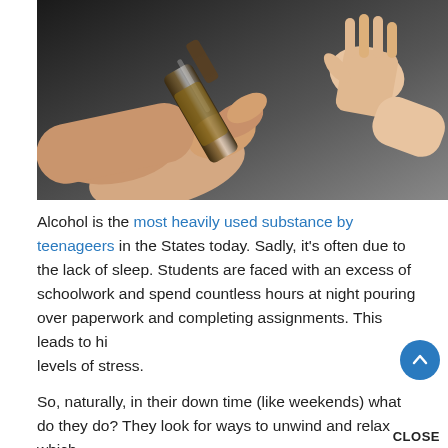[Figure (photo): A hand holding a beer bottle being offered to another hand raised in refusal, against a dark background.]
Alcohol is the most heavily used substance by teenageers in the States today. Sadly, it's often due to the lack of sleep. Students are faced with an excess of schoolwork and spend countless hours at night pouring over paperwork and completing assignments. This leads to high levels of stress.
So, naturally, in their down time (like weekends) what do they do? They look for ways to unwind and relax which